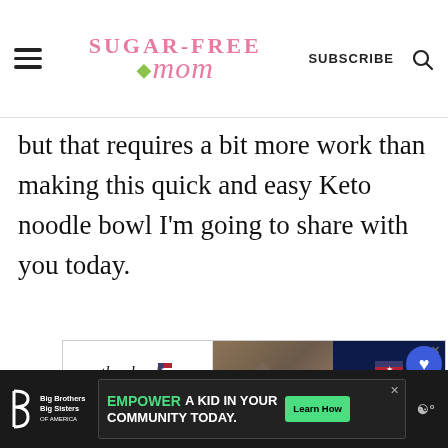Sugar-Free Mom — SUBSCRIBE
but that requires a bit more work than making this quick and easy Keto noodle bowl I'm going to share with you today.
[Figure (other): Advertisement banner: 'Thank you!' with American flag graphic, soldiers image, and Operation Gratitude logo on dark background]
[Figure (other): Heart/like button (blue circle) with count 23, and share button below]
[Figure (other): Bottom advertisement bar: Big Brothers Big Sisters logo, 'EMPOWER A KID IN YOUR COMMUNITY TODAY.' with green Learn How button, and weather widget]